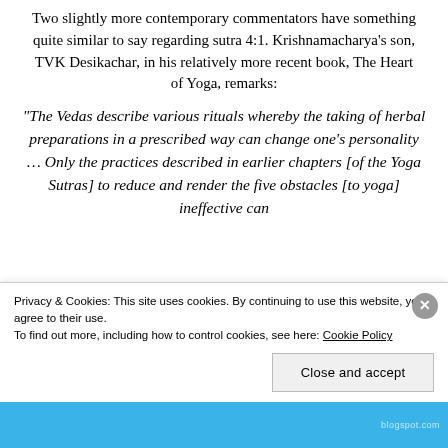Two slightly more contemporary commentators have something quite similar to say regarding sutra 4:1. Krishnamacharya's son, TVK Desikachar, in his relatively more recent book, The Heart of Yoga, remarks:
“The Vedas describe various rituals whereby the taking of herbal preparations in a prescribed way can change one’s personality … Only the practices described in earlier chapters [of the Yoga Sutras] to reduce and render the five obstacles [to yoga] ineffective can
Privacy & Cookies: This site uses cookies. By continuing to use this website, you agree to their use.
To find out more, including how to control cookies, see here: Cookie Policy
Close and accept